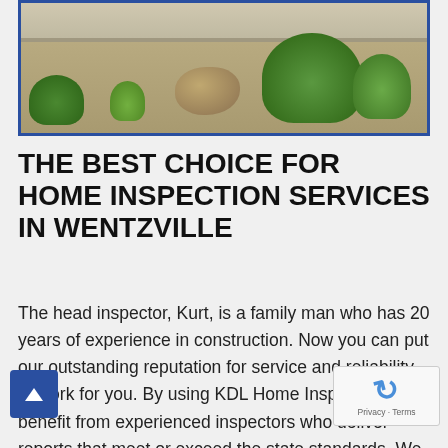[Figure (photo): Outdoor photo showing a landscaped area with rocks, bushes, and greenery, with a road or driveway visible at the top. Framed with a blue border.]
THE BEST CHOICE FOR HOME INSPECTION SERVICES IN WENTZVILLE
The head inspector, Kurt, is a family man who has 20 years of experience in construction. Now you can put our outstanding reputation for service and reliability to work for you. By using KDL Home Inspection, you benefit from experienced inspectors who deliver reports that meet or exceed the state standards. We also encourage your presence during the inspection. By being present at the inspection our professional inspector can familiarize you with the home and things to pay attention to now and in the future.